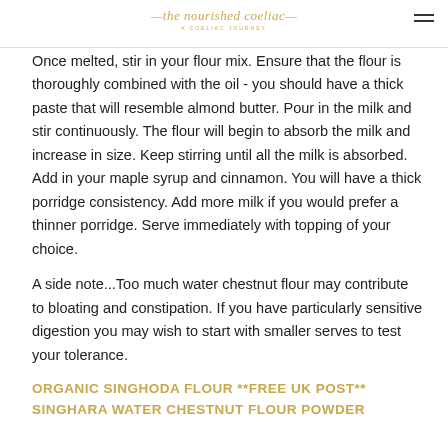the nourished coeliac — a coeliac journey
Once melted, stir in your flour mix. Ensure that the flour is thoroughly combined with the oil - you should have a thick paste that will resemble almond butter. Pour in the milk and stir continuously. The flour will begin to absorb the milk and increase in size. Keep stirring until all the milk is absorbed. Add in your maple syrup and cinnamon. You will have a thick porridge consistency. Add more milk if you would prefer a thinner porridge. Serve immediately with topping of your choice.
A side note...Too much water chestnut flour may contribute to bloating and constipation. If you have particularly sensitive digestion you may wish to start with smaller serves to test your tolerance.
ORGANIC SINGHODA FLOUR **FREE UK POST** SINGHARA WATER CHESTNUT FLOUR POWDER